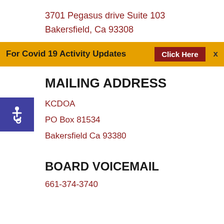3701 Pegasus drive Suite 103
Bakersfield, Ca 93308
For Covid 19 Activity Updates  Click Here  X
MAILING ADDRESS
KCDOA
PO Box 81534
Bakersfield Ca 93380
BOARD VOICEMAIL
661-374-3740